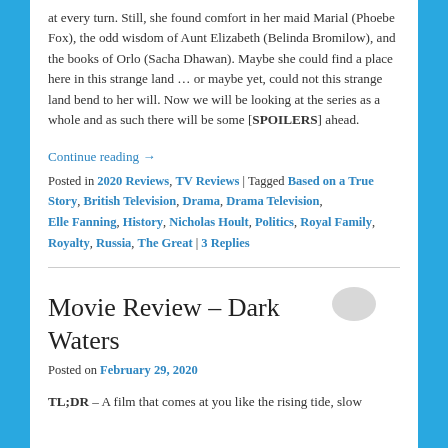at every turn. Still, she found comfort in her maid Marial (Phoebe Fox), the odd wisdom of Aunt Elizabeth (Belinda Bromilow), and the books of Orlo (Sacha Dhawan). Maybe she could find a place here in this strange land … or maybe yet, could not this strange land bend to her will. Now we will be looking at the series as a whole and as such there will be some [SPOILERS] ahead.
Continue reading →
Posted in 2020 Reviews, TV Reviews | Tagged Based on a True Story, British Television, Drama, Drama Television, Elle Fanning, History, Nicholas Hoult, Politics, Royal Family, Royalty, Russia, The Great | 3 Replies
Movie Review – Dark Waters
Posted on February 29, 2020
TL;DR – A film that comes at you like the rising tide, slow